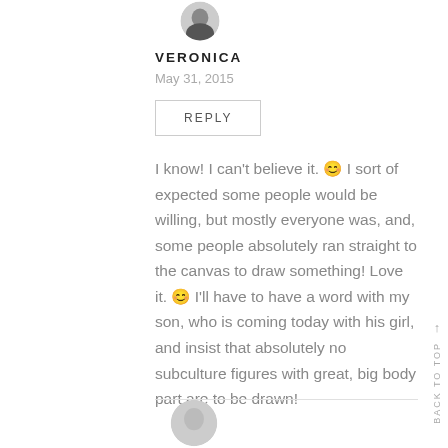[Figure (photo): Circular profile photo of Veronica, partially cropped at top]
VERONICA
May 31, 2015
REPLY
I know! I can't believe it. 😊 I sort of expected some people would be willing, but mostly everyone was, and, some people absolutely ran straight to the canvas to draw something! Love it. 😊 I'll have to have a word with my son, who is coming today with his girl, and insist that absolutely no subculture figures with great, big body part are to be drawn!
[Figure (photo): Circular profile photo partially visible at bottom of page]